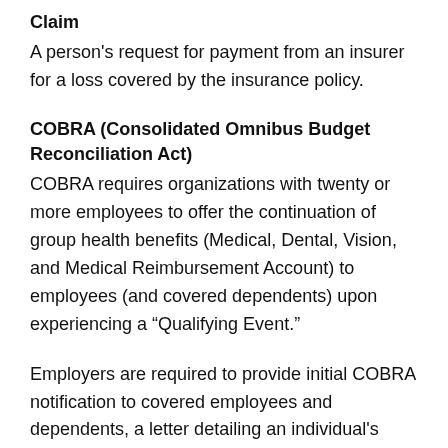Claim
A person's request for payment from an insurer for a loss covered by the insurance policy.
COBRA (Consolidated Omnibus Budget Reconciliation Act)
COBRA requires organizations with twenty or more employees to offer the continuation of group health benefits (Medical, Dental, Vision, and Medical Reimbursement Account) to employees (and covered dependents) upon experiencing a "Qualifying Event."
Employers are required to provide initial COBRA notification to covered employees and dependents, a letter detailing an individual's rights upon experiencing